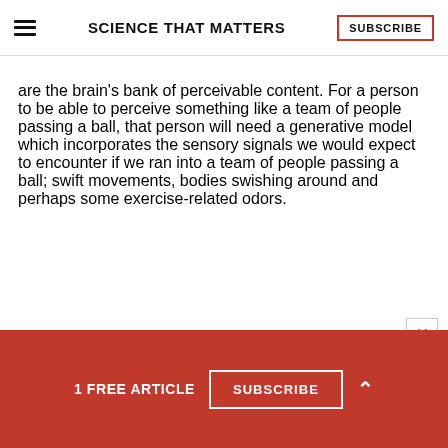SCIENCE THAT MATTERS
are the brain's bank of perceivable content. For a person to be able to perceive something like a team of people passing a ball, that person will need a generative model which incorporates the sensory signals we would expect to encounter if we ran into a team of people passing a ball; swift movements, bodies swishing around and perhaps some exercise-related odors.
1 FREE ARTICLE